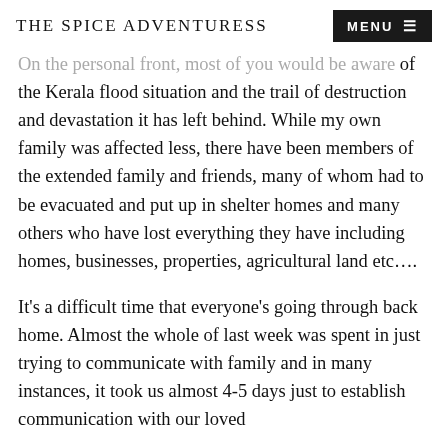THE SPICE ADVENTURESS | MENU
On the personal front, most of you would be aware of the Kerala flood situation and the trail of destruction and devastation it has left behind. While my own family was affected less, there have been members of the extended family and friends, many of whom had to be evacuated and put up in shelter homes and many others who have lost everything they have including homes, businesses, properties, agricultural land etc....
It’s a difficult time that everyone’s going through back home. Almost the whole of last week was spent in just trying to communicate with family and in many instances, it took us almost 4-5 days just to establish communication with our loved